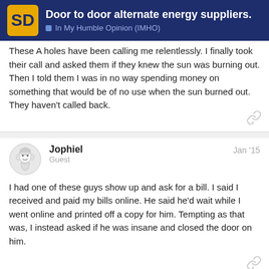Door to door alternate energy suppliers. | In My Humble Opinion (IMHO)
These A holes have been calling me relentlessly. I finally took their call and asked them if they knew the sun was burning out. Then I told them I was in no way spending money on something that would be of no use when the sun burned out. They haven't called back.
Jophiel — Guest — Jan '15
I had one of these guys show up and ask for a bill. I said I received and paid my bills online. He said he'd wait while I went online and printed off a copy for him. Tempting as that was, I instead asked if he was insane and closed the door on him.